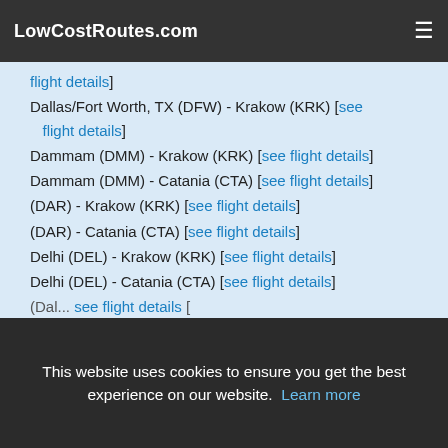LowCostRoutes.com
flight details]
Dallas/Fort Worth, TX (DFW) - Krakow (KRK) [see flight details]
Dammam (DMM) - Krakow (KRK) [see flight details]
Dammam (DMM) - Catania (CTA) [see flight details]
(DAR) - Krakow (KRK) [see flight details]
(DAR) - Catania (CTA) [see flight details]
Delhi (DEL) - Krakow (KRK) [see flight details]
Delhi (DEL) - Catania (CTA) [see flight details]
This website uses cookies to ensure you get the best experience on our website. Learn more